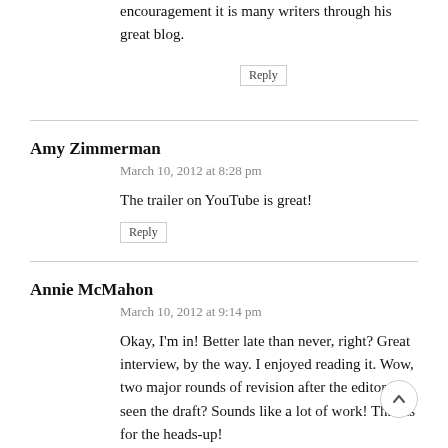encouragement it is many writers through his great blog.
Reply
Amy Zimmerman
March 10, 2012 at 8:28 pm
The trailer on YouTube is great!
Reply
Annie McMahon
March 10, 2012 at 9:14 pm
Okay, I'm in! Better late than never, right? Great interview, by the way. I enjoyed reading it. Wow, two major rounds of revision after the editor has seen the draft? Sounds like a lot of work! Thanks for the heads-up!
Reply